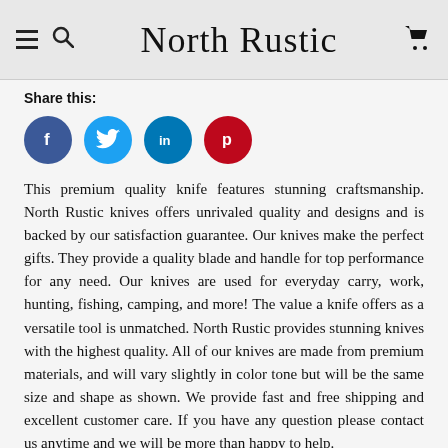North Rustic
Share this:
[Figure (infographic): Social share buttons: Facebook (blue circle with f), Twitter (light blue circle with bird), LinkedIn (teal circle with in), Pinterest (red circle with P)]
This premium quality knife features stunning craftsmanship. North Rustic knives offers unrivaled quality and designs and is backed by our satisfaction guarantee. Our knives make the perfect gifts. They provide a quality blade and handle for top performance for any need. Our knives are used for everyday carry, work, hunting, fishing, camping, and more! The value a knife offers as a versatile tool is unmatched. North Rustic provides stunning knives with the highest quality. All of our knives are made from premium materials, and will vary slightly in color tone but will be the same size and shape as shown. We provide fast and free shipping and excellent customer care. If you have any question please contact us anytime and we will be more than happy to help.